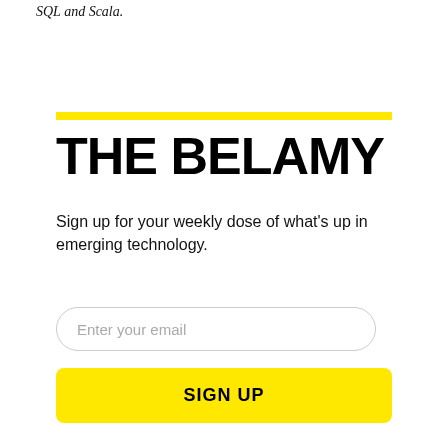SQL and Scala.
THE BELAMY
Sign up for your weekly dose of what's up in emerging technology.
Enter your email
SIGN UP